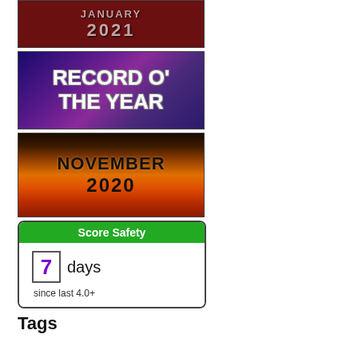[Figure (illustration): Banner image with dark red/maroon background showing text 'JANUARY 2021' in metallic pinkish letters]
[Figure (illustration): Banner image with galaxy/nebula purple-blue background showing text 'RECORD O' THE YEAR' in bold white letters with grey outline]
[Figure (illustration): Banner image with fiery sunset/orange-red background showing text 'NOVEMBER 2020' in bold black letters]
[Figure (infographic): Score Safety widget with green header, showing '7 days since last 4.0+']
Tags